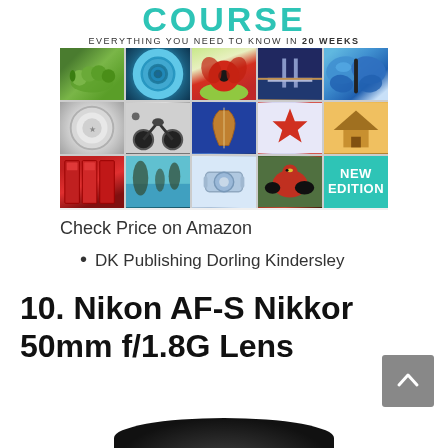[Figure (photo): Book cover for a photography course. Top reads 'COURSE EVERYTHING YOU NEED TO KNOW IN 20 WEEKS'. Below is a 5x3 grid of photos: caterpillar, blue spiral, red poppies, Tower Bridge, blue butterfly, silver coin, motorbike, violin, starfish, Chinese temple, red phone boxes, Ha Long Bay, camera lens, red bird, and 'NEW EDITION' teal block.]
Check Price on Amazon
DK Publishing Dorling Kindersley
10. Nikon AF-S Nikkor 50mm f/1.8G Lens
[Figure (photo): Bottom portion of a Nikon AF-S Nikkor 50mm f/1.8G lens, black, partially visible at the bottom of the page.]